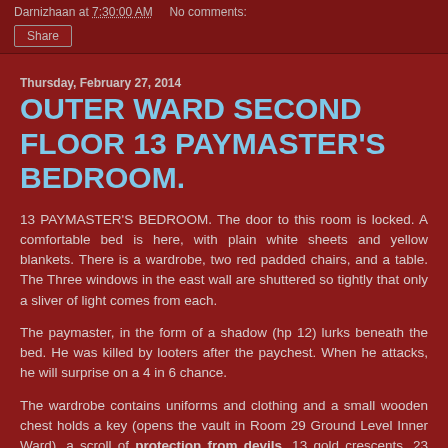Darnizhaan at 7:30:00 AM   No comments:
Share
Thursday, February 27, 2014
OUTER WARD SECOND FLOOR 13 PAYMASTER'S BEDROOM.
13 PAYMASTER'S BEDROOM. The door to this room is locked. A comfortable bed is here, with plain white sheets and yellow blankets. There is a wardrobe, two red padded chairs, and a table. The Three windows in the east wall are shuttered so tightly that only a sliver of light comes from each.
The paymaster, in the form of a shadow (hp 12) lurks beneath the bed. He was killed by looters after the paychest. When he attacks, he will surprise on a 4 in 6 chance.
The wardrobe contains uniforms and clothing and a small wooden chest holds a key (opens the vault in Room 29 Ground Level Inner Ward), a scroll of protection from devils, 13 gold crescents, 23 silver spanners,